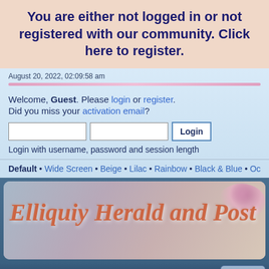You are either not logged in or not registered with our community. Click here to register.
August 20, 2022, 02:09:58 am
Welcome, Guest. Please login or register. Did you miss your activation email?
Login with username, password and session length
Default • Wide Screen • Beige • Lilac • Rainbow • Black & Blue • October • Platin
[Figure (screenshot): Elliquiy Herald and Post forum banner with decorative background]
Wiki
Home  Help  Search  My Bookmarks  Login  Register
Elliquiy Role Playing Forums » Adult Role Playing Requests »